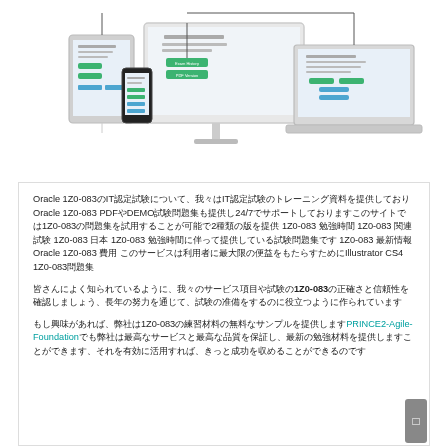[Figure (screenshot): Multi-device mockup showing a desktop monitor, tablet, laptop, and smartphone displaying a website interface with green download buttons labeled 'Exam History' and 'PDF Version'.]
Oracle 1Z0-083のIT認定試験について、我々はIT認定試験のトレーニング資料を提供しておりOracle 1Z0-083 PDFやDEMO試験問題集も提供し24/7でサポートしておりますこのサイトでは1Z0-083の問題集を試用することが可能で2種類の版を提供 1Z0-083 勉強時間 1Z0-083 関連試験 1Z0-083 日本 1Z0-083 勉強時間に伴って提供している試験問題集です 1Z0-083 最新情報 Oracle 1Z0-083 費用 このサービスは利用者に最大限の便益をもたらすためにIllustrator CS4 1Z0-083問題集
皆さんによく知られているように、我々のサービス項目や試験の1Z0-083の正確さと信頼性を確認しましょう、長年の努力を通じて、試験の准備をするのに役立つように作られています
もし興味があれば、弊社は1Z0-083の練習材料の無料なサンプルを提供しますPRINCE2-Agile-Foundationでも弊社は最高なサービスと最高な品質を保証し、最新の勉強材料を提供しますことができます、それを有効に活用すれば、きっと成功を収めることができるのです